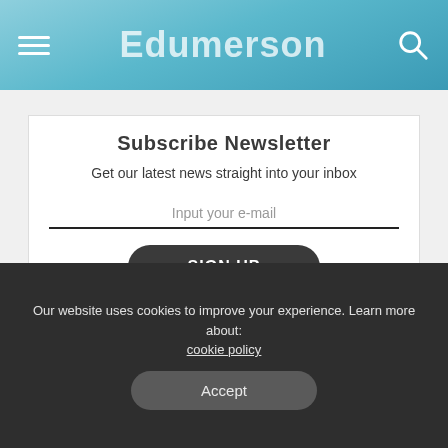Edumerson
Subscribe Newsletter
Get our latest news straight into your inbox
Input your e-mail
SIGN UP
By clicking, You are agreeing to our terms.
Baby Sleep & Care Tips
Our website uses cookies to improve your experience. Learn more about: cookie policy
Accept